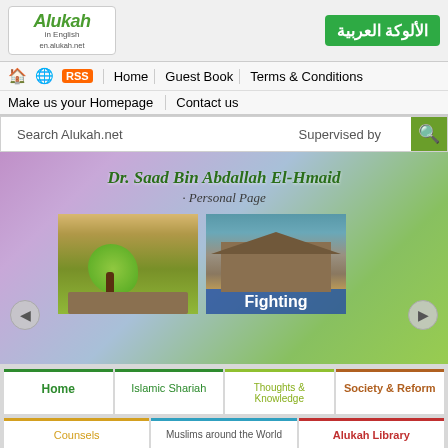[Figure (screenshot): Alukah in English website header with logo, Arabic button, navigation bar, search bar, banner featuring Dr. Saad Bin Abdallah El-Hmaid personal page, image slideshow, and bottom category navigation]
Alukah in English | en.alukah.net
Home | Guest Book | Terms & Conditions
Make us your Homepage | Contact us
Search Alukah.net   Supervised by
Dr. Saad Bin Abdallah El-Hmaid
· Personal Page
Fighting
Home | Islamic Shariah | Thoughts & Knowledge | Society & Reform
Counsels | Muslims around the World | Alukah Library